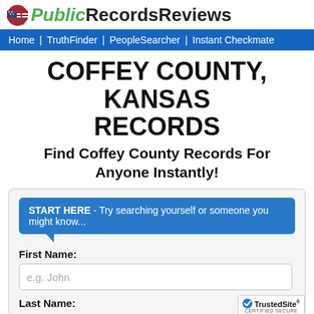[Figure (logo): PublicRecordsReviews logo with US flag magnifier icon, green italic 'Public' and black bold 'RecordsReviews']
Home | TruthFinder | PeopleSearcher | Instant Checkmate
COFFEY COUNTY, KANSAS RECORDS
Find Coffey County Records For Anyone Instantly!
START HERE - Try searching yourself or someone you might know...
First Name:
e.g. John
Last Name: